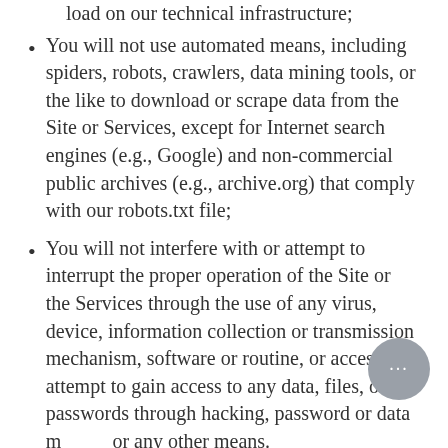load on our technical infrastructure;
You will not use automated means, including spiders, robots, crawlers, data mining tools, or the like to download or scrape data from the Site or Services, except for Internet search engines (e.g., Google) and non-commercial public archives (e.g., archive.org) that comply with our robots.txt file;
You will not interfere with or attempt to interrupt the proper operation of the Site or the Services through the use of any virus, device, information collection or transmission mechanism, software or routine, or access or attempt to gain access to any data, files, or passwords through hacking, password or data mining, or any other means.
We reserve the right in our sole discretion to